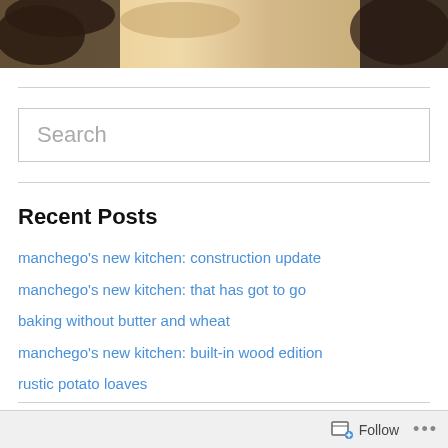[Figure (photo): Partial view of a cat or animal photo cropped at the top of the page, warm beige and dark tones]
Search
Recent Posts
manchego's new kitchen: construction update
manchego's new kitchen: that has got to go
baking without butter and wheat
manchego's new kitchen: built-in wood edition
rustic potato loaves
Categories
Follow ...